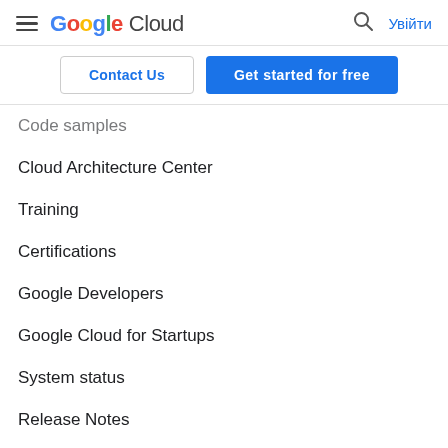Google Cloud — Увійти
Contact Us | Get started for free
Code samples
Cloud Architecture Center
Training
Certifications
Google Developers
Google Cloud for Startups
System status
Release Notes
Engage
Contact sales